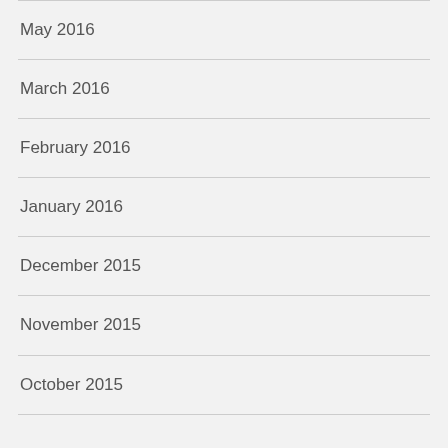May 2016
March 2016
February 2016
January 2016
December 2015
November 2015
October 2015